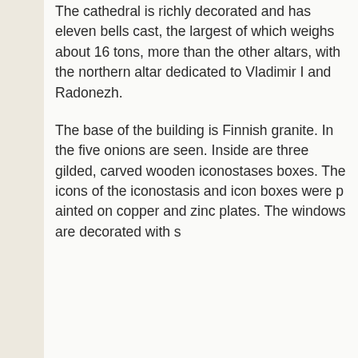The cathedral is richly decorated and has eleven bells cast, the largest of which weighs about 16 tons, more than the other altars, with the northern altar dedicated to Vladimir I and Radonezh.
The base of the building is Finnish granite. In the five onions are seen. Inside are three gilded, carved wooden iconostases boxes. The icons of the iconostasis and icon boxes were painted on copper and zinc plates. The windows are decorated with s